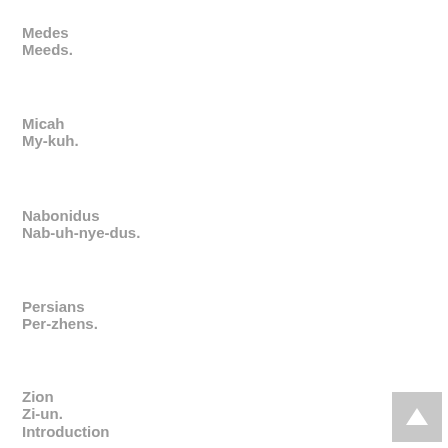Medes
Meeds.
Micah
My-kuh.
Nabonidus
Nab-uh-nye-dus.
Persians
Per-zhens.
Zion
Zi-un.
Introduction